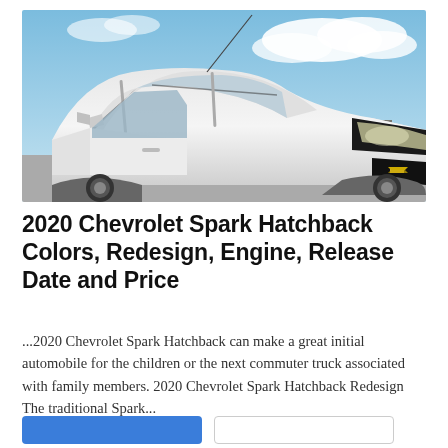[Figure (photo): White Chevrolet Spark Hatchback photographed from the front-left angle against a partly cloudy blue sky background, showing the hood, windshield, roof rack rails, side mirror, headlight, and Chevy bowtie grille badge.]
2020 Chevrolet Spark Hatchback Colors, Redesign, Engine, Release Date and Price
...2020 Chevrolet Spark Hatchback can make a great initial automobile for the children or the next commuter truck associated with family members. 2020 Chevrolet Spark Hatchback Redesign The traditional Spark...